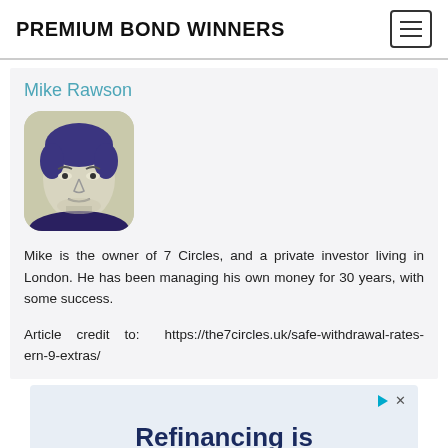PREMIUM BOND WINNERS
Mike Rawson
[Figure (photo): Stylized black-and-white portrait photo of Mike Rawson with blue tinted hair area, rounded rectangle crop]
Mike is the owner of 7 Circles, and a private investor living in London. He has been managing his own money for 30 years, with some success.
Article credit to: https://the7circles.uk/safe-withdrawal-rates-ern-9-extras/
[Figure (other): Advertisement banner with text 'Refinancing is']